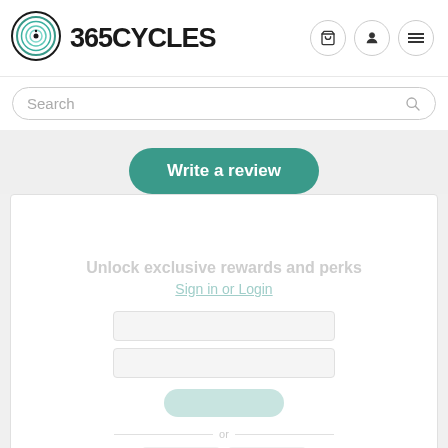[Figure (logo): 365 Cycles logo with concentric circular target icon in teal/black and bold text '365CYCLES']
[Figure (infographic): Navigation icons: shopping cart, user profile, and hamburger menu as circle icon buttons]
Search
Write a review
Unlock exclusive rewards and perks
Sign in or Login
Faded login form elements (inputs, button, social login options)